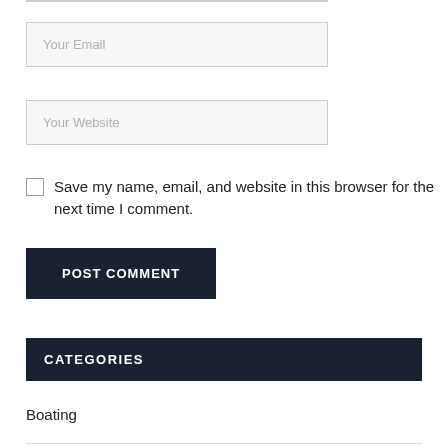Your Email
Your Website
Save my name, email, and website in this browser for the next time I comment.
POST COMMENT
CATEGORIES
Boating